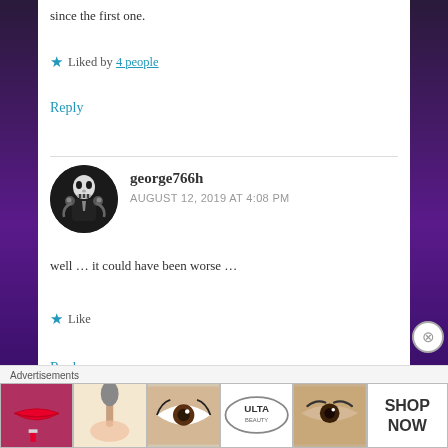since the first one.
★ Liked by 4 people
Reply
george766h
AUGUST 12, 2019 AT 4:08 PM
well … it could have been worse …
★ Like
Reply
Advertisements
[Figure (photo): Advertisement banner with makeup/beauty images and Ulta logo with SHOP NOW]